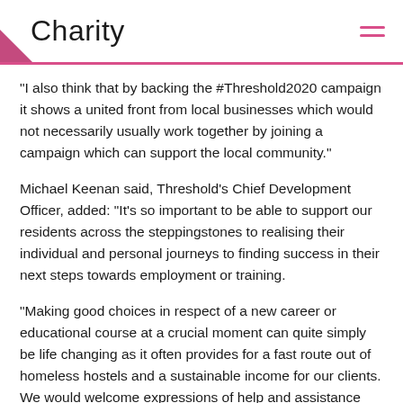Charity
“I also think that by backing the #Threshold2020 campaign it shows a united front from local businesses which would not necessarily usually work together by joining a campaign which can support the local community.”
Michael Keenan said, Threshold’s Chief Development Officer, added: “It’s so important to be able to support our residents across the steppingstones to realising their individual and personal journeys to finding success in their next steps towards employment or training.
“Making good choices in respect of a new career or educational course at a crucial moment can quite simply be life changing as it often provides for a fast route out of homeless hostels and a sustainable income for our clients. We would welcome expressions of help and assistance from all spheres and sectors.”